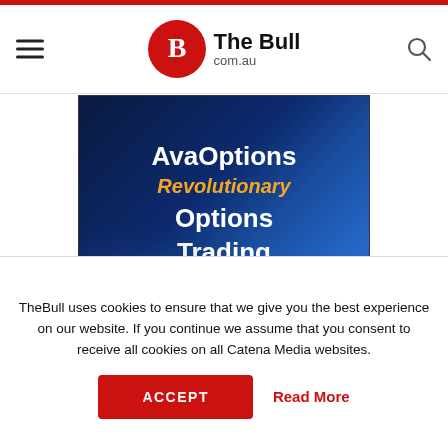The Bull com.au
[Figure (advertisement): AvaOptions Revolutionary Options Trading App advertisement on dark blue gradient background]
TheBull uses cookies to ensure that we give you the best experience on our website. If you continue we assume that you consent to receive all cookies on all Catena Media websites.
ACCEPT
Read More